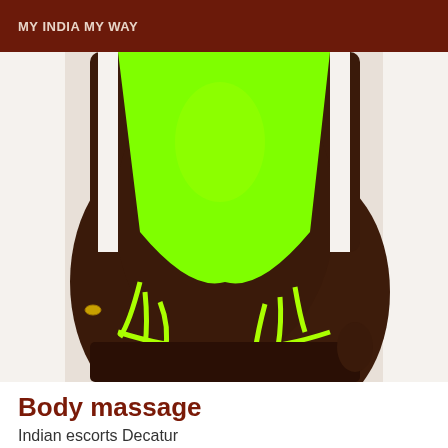MY INDIA MY WAY
[Figure (photo): A person wearing a neon green strappy swimsuit/bodysuit against a light background, showing torso and legs.]
Body massage
Indian escorts Decatur